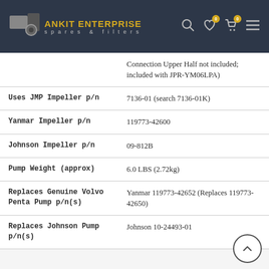ANKIT ENTERPRISE spares & filters
| Property | Value |
| --- | --- |
|  | Connection Upper Half not included; included with JPR-YM06LPA) |
| Uses JMP Impeller p/n | 7136-01 (search 7136-01K) |
| Yanmar Impeller p/n | 119773-42600 |
| Johnson Impeller p/n | 09-812B |
| Pump Weight (approx) | 6.0 LBS (2.72kg) |
| Replaces Genuine Volvo Penta Pump p/n(s) | Yanmar 119773-42652 (Replaces 119773-42650) |
| Replaces Johnson Pump p/n(s) | Johnson 10-24493-01 |